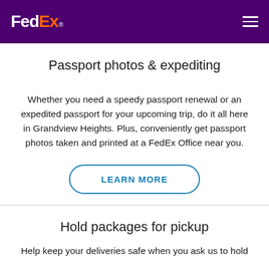FedEx. [hamburger menu icon]
Passport photos & expediting
Whether you need a speedy passport renewal or an expedited passport for your upcoming trip, do it all here in Grandview Heights. Plus, conveniently get passport photos taken and printed at a FedEx Office near you.
LEARN MORE
Hold packages for pickup
Help keep your deliveries safe when you ask us to hold